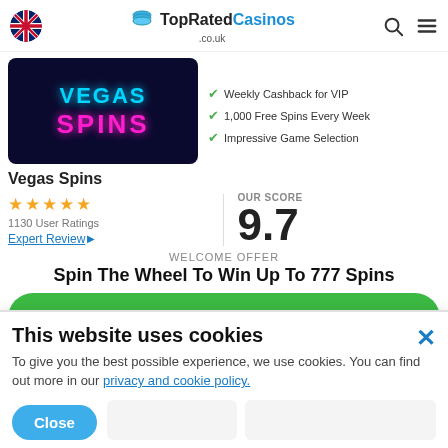TopRatedCasinos .co.uk
[Figure (screenshot): Vegas Spins casino logo image showing neon text VEGAS SPINS on dark background]
Weekly Cashback for VIP
1,000 Free Spins Every Week
Impressive Game Selection
Vegas Spins
1130 User Ratings
Expert Review ▶
OUR SCORE
9.7
WELCOME OFFER
Spin The Wheel To Win Up To 777 Spins
Claim Bonus →
This website uses cookies
To give you the best possible experience, we use cookies. You can find out more in our privacy and cookie policy.
Close